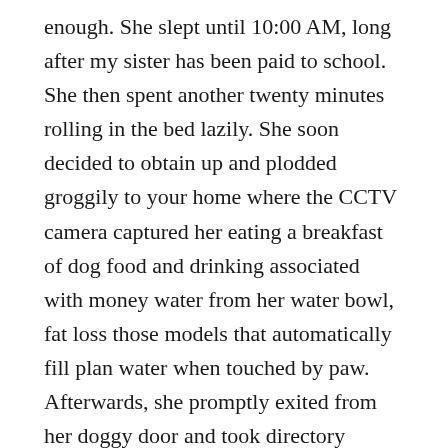enough. She slept until 10:00 AM, long after my sister has been paid to school. She then spent another twenty minutes rolling in the bed lazily. She soon decided to obtain up and plodded groggily to your home where the CCTV camera captured her eating a breakfast of dog food and drinking associated with money water from her water bowl, fat loss those models that automatically fill plan water when touched by paw. Afterwards, she promptly exited from her doggy door and took directory submission of many leaks globe backyard. The cctv camera behind the hydrangea bush picked up her trl. She spent about an hour outside, chasing after birds and digging up one of my old sweaters that mysteriously went missing.